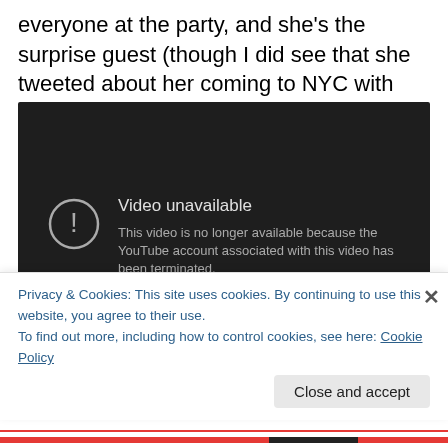everyone at the party, and she's the surprise guest (though I did see that she tweeted about her coming to NYC with the Freemasons).
[Figure (screenshot): YouTube video unavailable screen with dark background showing 'Video unavailable' message and exclamation icon. Text reads: 'This video is no longer available because the YouTube account associated with this video has been terminated.']
Privacy & Cookies: This site uses cookies. By continuing to use this website, you agree to their use.
To find out more, including how to control cookies, see here: Cookie Policy